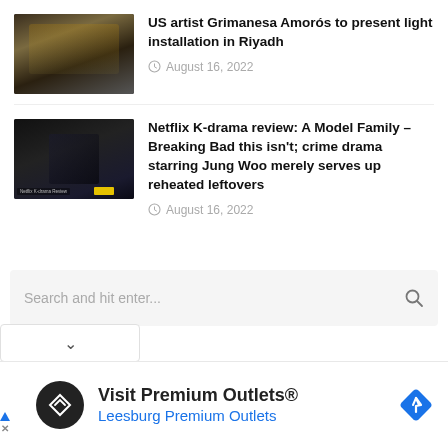[Figure (photo): Thumbnail image of a grand interior hall with arched architecture, dark moody lighting with golden tones]
US artist Grimanesa Amorós to present light installation in Riyadh
August 16, 2022
[Figure (photo): Thumbnail of a dark scene with a figure in a suit, Netflix K-drama style promo image with yellow badge overlay]
Netflix K-drama review: A Model Family – Breaking Bad this isn't; crime drama starring Jung Woo merely serves up reheated leftovers
August 16, 2022
Search and hit enter...
[Figure (logo): Advertisement banner: Visit Premium Outlets® / Leesburg Premium Outlets with circular logo and navigation diamond icon]